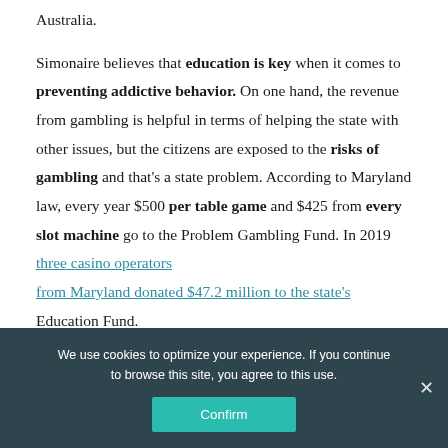Australia.
Simonaire believes that education is key when it comes to preventing addictive behavior. On one hand, the revenue from gambling is helpful in terms of helping the state with other issues, but the citizens are exposed to the risks of gambling and that's a state problem. According to Maryland law, every year $500 per table game and $425 from every slot machine go to the Problem Gambling Fund. In 2019 three casino operators from Maryland donated $47.2 million to the state's Education Fund.
We use cookies to optimize your experience. If you continue to browse this site, you agree to this use.